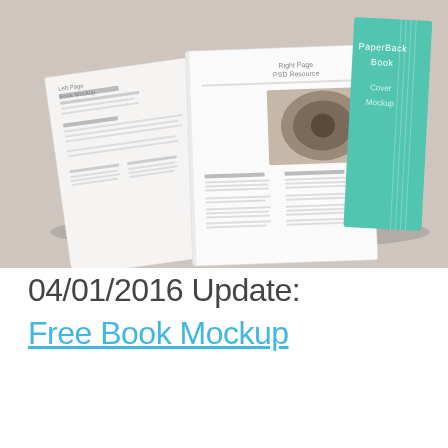[Figure (photo): A paperback book mockup showing an open book with two spread pages (Left Page Book Mockup on the left, Right Page PSD Resource on the right) and a teal/green cover book (PaperBack Book Cover Mockup) leaning against it, photographed on a light gray/beige background.]
04/01/2016 Update:
Free Book Mockup